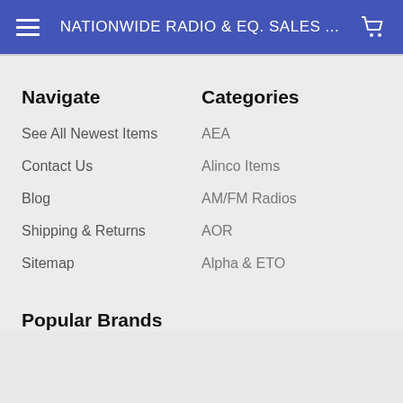NATIONWIDE RADIO & EQ. SALES ...
Navigate
See All Newest Items
Contact Us
Blog
Shipping & Returns
Sitemap
Categories
AEA
Alinco Items
AM/FM Radios
AOR
Alpha & ETO
Popular Brands